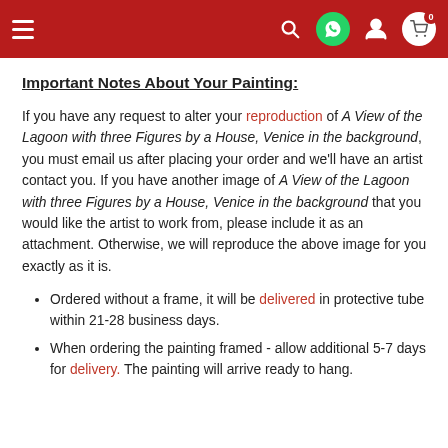Navigation bar with hamburger menu, search, WhatsApp, user, and cart icons
Important Notes About Your Painting:
If you have any request to alter your reproduction of A View of the Lagoon with three Figures by a House, Venice in the background, you must email us after placing your order and we'll have an artist contact you. If you have another image of A View of the Lagoon with three Figures by a House, Venice in the background that you would like the artist to work from, please include it as an attachment. Otherwise, we will reproduce the above image for you exactly as it is.
Ordered without a frame, it will be delivered in protective tube within 21-28 business days.
When ordering the painting framed - allow additional 5-7 days for delivery. The painting will arrive ready to hang.